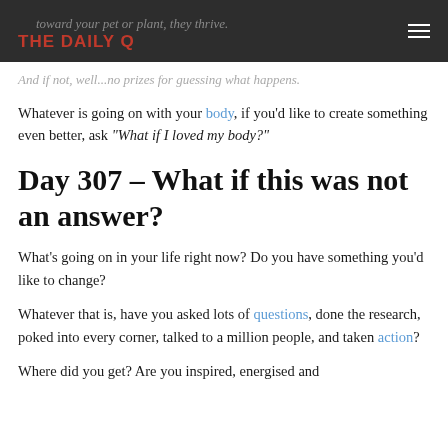THE DAILY Q
toward your pet or plant, they thrive.
And if not, well...no prizes for guessing what happens.
Whatever is going on with your body, if you'd like to create something even better, ask "What if I loved my body?"
Day 307 - What if this was not an answer?
What's going on in your life right now? Do you have something you'd like to change?
Whatever that is, have you asked lots of questions, done the research, poked into every corner, talked to a million people, and taken action?
Where did you get? Are you inspired, energised and